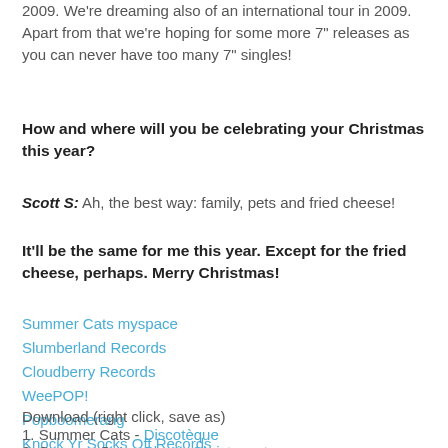2009. We're dreaming also of an international tour in 2009. Apart from that we're hoping for some more 7" releases as you can never have too many 7" singles!
How and where will you be celebrating your Christmas this year?
Scott S: Ah, the best way: family, pets and fried cheese!
It'll be the same for me this year. Except for the fried cheese, perhaps. Merry Christmas!
Summer Cats myspace
Slumberland Records
Cloudberry Records
WeePOP!
Popboomerang
Knock Yr Socks Off Records
Download (right click, save as)
1. Summer Cats - Discotèque
2. Summer Cats - Plastic Christmas trees